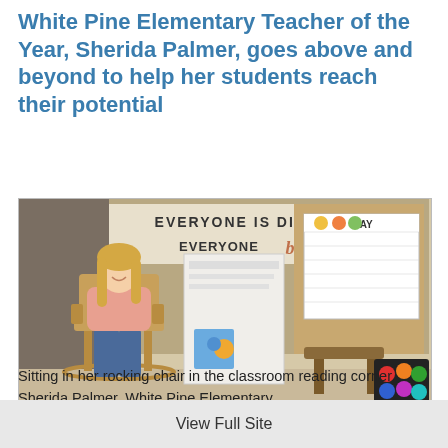White Pine Elementary Teacher of the Year, Sherida Palmer, goes above and beyond to help her students reach their potential
[Figure (photo): Sherida Palmer, a blonde woman in a pink shirt and jeans, sitting in a rocking chair in a classroom reading corner. Behind her is a bulletin board sign reading 'EVERYONE IS DIFFERENT EVERYONE belongs' and a May calendar on the wall.]
Sitting in her rocking chair in the classroom reading corner, Sherida Palmer, White Pine Elementary
View Full Site